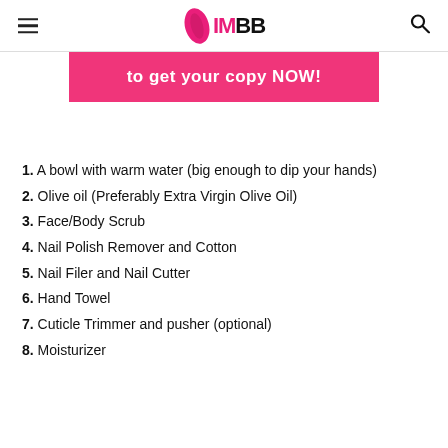IMBB
[Figure (other): Pink banner with bold white text: to get your copy NOW!]
1. A bowl with warm water (big enough to dip your hands)
2. Olive oil (Preferably Extra Virgin Olive Oil)
3. Face/Body Scrub
4. Nail Polish Remover and Cotton
5. Nail Filer and Nail Cutter
6. Hand Towel
7. Cuticle Trimmer and pusher (optional)
8. Moisturizer